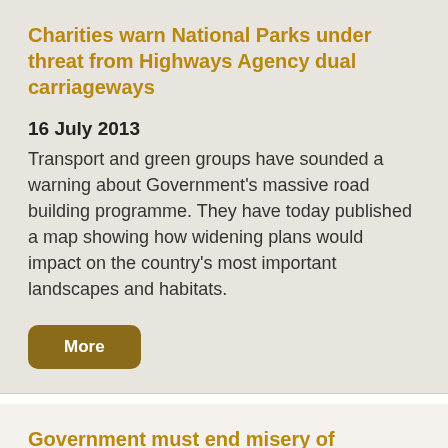Charities warn National Parks under threat from Highways Agency dual carriageways
16 July 2013
Transport and green groups have sounded a warning about Government's massive road building programme. They have today published a map showing how widening plans would impact on the country's most important landscapes and habitats.
More
Government must end misery of overcrowded commuter trains